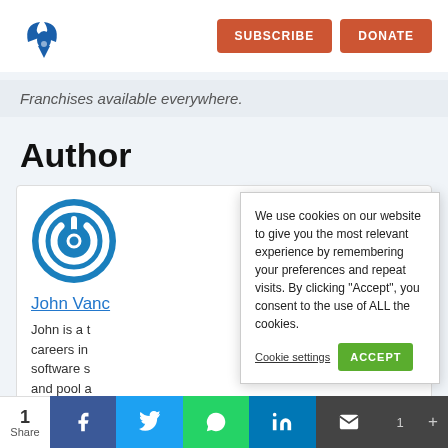SUBSCRIBE   DONATE
Franchises available everywhere.
Author
[Figure (logo): Blue circular power button icon — author avatar]
John Vanc
John is a ... careers in ... software s... and pool a...
We use cookies on our website to give you the most relevant experience by remembering your preferences and repeat visits. By clicking “Accept”, you consent to the use of ALL the cookies.
Cookie settings   ACCEPT
1 Share  [Facebook] [Twitter] [WhatsApp] [LinkedIn] [Mail] 1 +